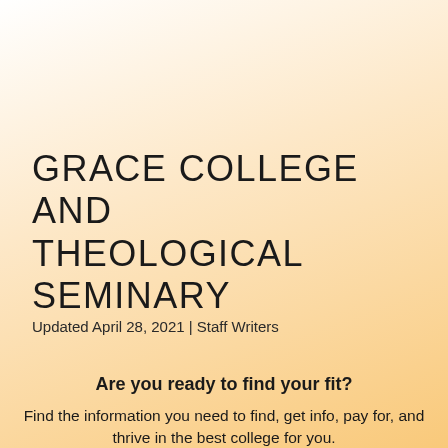GRACE COLLEGE AND THEOLOGICAL SEMINARY
Updated April 28, 2021 | Staff Writers
Are you ready to find your fit?
Find the information you need to find, get info, pay for, and thrive in the best college for you.